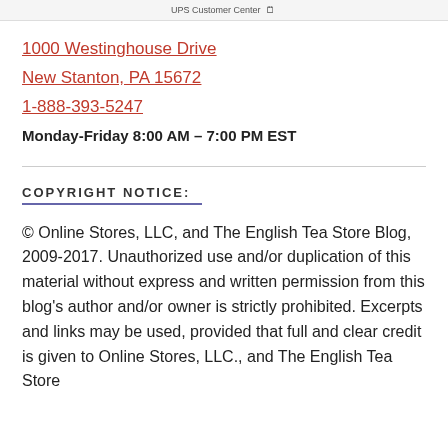UPS Customer Center
1000 Westinghouse Drive
New Stanton, PA 15672
1-888-393-5247
Monday-Friday 8:00 AM – 7:00 PM EST
COPYRIGHT NOTICE:
© Online Stores, LLC, and The English Tea Store Blog, 2009-2017. Unauthorized use and/or duplication of this material without express and written permission from this blog's author and/or owner is strictly prohibited. Excerpts and links may be used, provided that full and clear credit is given to Online Stores, LLC., and The English Tea Store